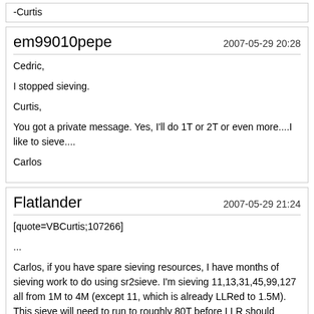-Curtis
em99010pepe
2007-05-29 20:28
Cedric,
I stopped sieving.
Curtis,
You got a private message. Yes, I'll do 1T or 2T or even more....I like to sieve....
Carlos
Flatlander
2007-05-29 21:24
[quote=VBCurtis;107266]
...
Carlos, if you have spare sieving resources, I have months of sieving work to do using sr2sieve. I'm sieving 11,13,31,45,99,127 all from 1M to 4M (except 11, which is already LLRed to 1.5M). This sieve will need to run to roughly 80T before LLR should begin, and I'm at 20T. If you'd like to do a T or so as a public service, I'd love it.
-Curtis[/quote]
How long does it take to sieve a T? On what CPU?